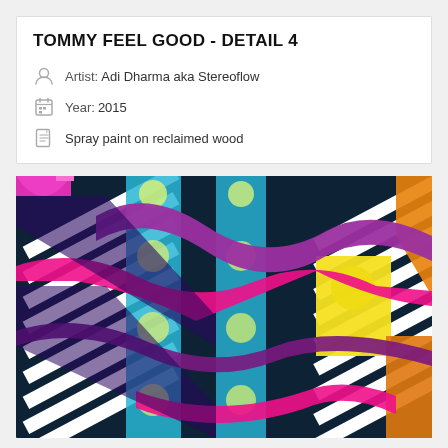TOMMY FEEL GOOD - DETAIL 4
Artist: Adi Dharma aka Stereoflow
Year: 2015
Spray paint on reclaimed wood
[Figure (photo): Detail photograph of a colorful spray paint artwork on reclaimed wood featuring geometric patterns with black and white stripes, cyan and teal vertical bands with circular dots, wavy magenta and purple ribbon-like stripes, yellow, orange, and pink color blocks on a dark navy background.]